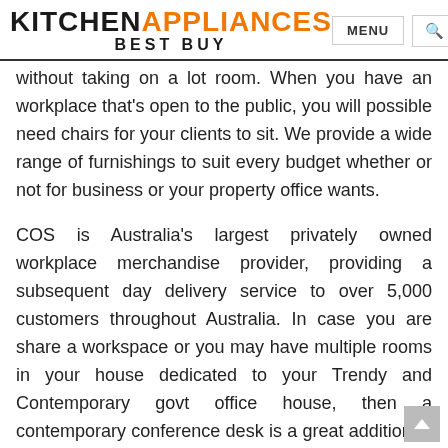KITCHEN APPLIANCES BEST BUY — MENU [search]
without taking on a lot room. When you have an workplace that's open to the public, you will possible need chairs for your clients to sit. We provide a wide range of furnishings to suit every budget whether or not for business or your property office wants.
COS is Australia's largest privately owned workplace merchandise provider, providing a subsequent day delivery service to over 5,000 customers throughout Australia. In case you are share a workspace or you may have multiple rooms in your house dedicated to your Trendy and Contemporary govt office house, then a contemporary conference desk is a great addition to your workspace. Make